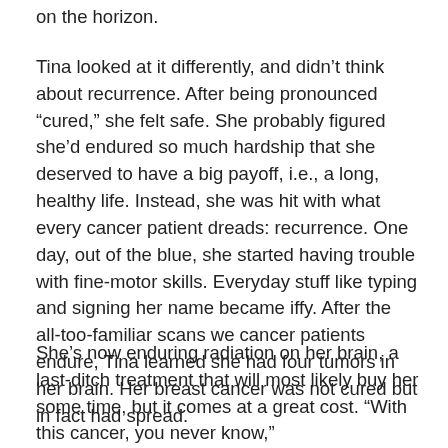on the horizon.
Tina looked at it differently, and didn't think about recurrence. After being pronounced “cured,” she felt safe. She probably figured she'd endured so much hardship that she deserved to have a big payoff, i.e., a long, healthy life. Instead, she was hit with what every cancer patient dreads: recurrence. One day, out of the blue, she started having trouble with fine-motor skills. Everyday stuff like typing and signing her name became iffy. After the all-too-familiar scans we cancer patients endure, Tina learned she had four tumors in her brain. Her breast cancer was not cured but in fact had spread.
She’s now enduring radiation on her brain, a last-ditch treatment that will most likely buy her some time, but it comes at a great cost. “With this cancer, you never know,”